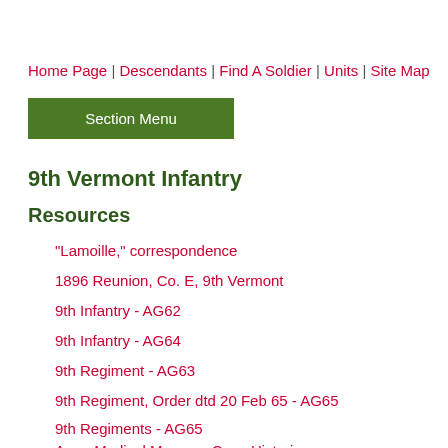Home Page | Descendants | Find A Soldier | Units | Site Map
Section Menu
9th Vermont Infantry
Resources
"Lamoille," correspondence
1896 Reunion, Co. E, 9th Vermont
9th Infantry - AG62
9th Infantry - AG64
9th Regiment - AG63
9th Regiment, Order dtd 20 Feb 65 - AG65
9th Regiments - AG65
Army Medical Museum Case Histories